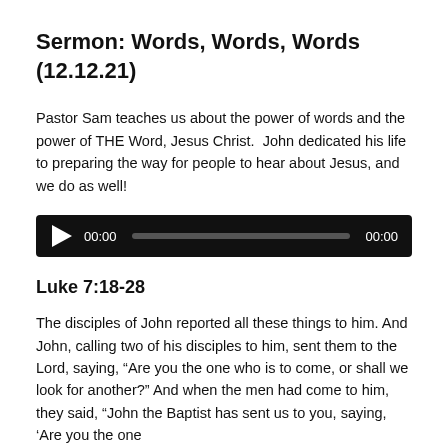Sermon: Words, Words, Words (12.12.21)
Pastor Sam teaches us about the power of words and the power of THE Word, Jesus Christ. John dedicated his life to preparing the way for people to hear about Jesus, and we do as well!
[Figure (other): Audio player with play button, timestamp 00:00, progress bar, and end time 00:00 on black background]
Luke 7:18-28
The disciples of John reported all these things to him. And John, calling two of his disciples to him, sent them to the Lord, saying, “Are you the one who is to come, or shall we look for another?” And when the men had come to him, they said, “John the Baptist has sent us to you, saying, ‘Are you the one